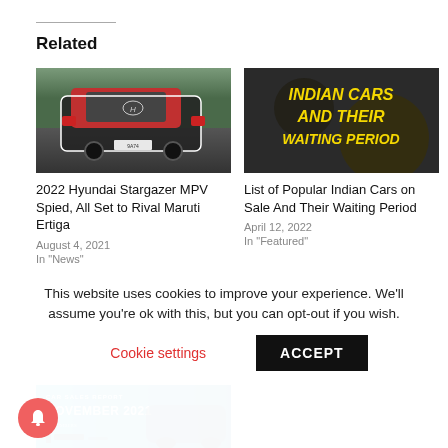Related
[Figure (photo): Rear view of a Hyundai SUV/MPV (dark red and black) being spied on a road, with white outline markings on the car body]
[Figure (photo): Dark background image with bold yellow italic text reading 'INDIAN CARS AND THEIR WAITING PERIOD']
2022 Hyundai Stargazer MPV Spied, All Set to Rival Maruti Ertiga
August 4, 2021
In "News"
List of Popular Indian Cars on Sale And Their Waiting Period
April 12, 2022
In "Featured"
[Figure (photo): Car Sales Report November 2021 banner with teal/blue background and a dark car silhouette]
This website uses cookies to improve your experience. We'll assume you're ok with this, but you can opt-out if you wish.
Cookie settings
ACCEPT